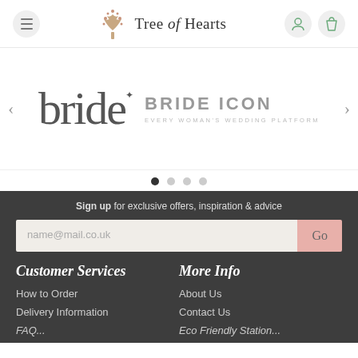[Figure (logo): Tree of Hearts website header with menu button, tree logo, site name 'Tree of Hearts', user icon and shopping bag icon]
[Figure (screenshot): Carousel slide showing 'bride' magazine logo and 'BRIDE ICON - Every Woman's Wedding Platform' logo, with left and right navigation arrows]
[Figure (other): Carousel pagination dots, first dot active (dark), three more dots in lighter grey]
Sign up for exclusive offers, inspiration & advice
[Figure (other): Email signup input field with placeholder 'name@mail.co.uk' and a pink 'Go' button]
Customer Services
More Info
How to Order
About Us
Delivery Information
Contact Us